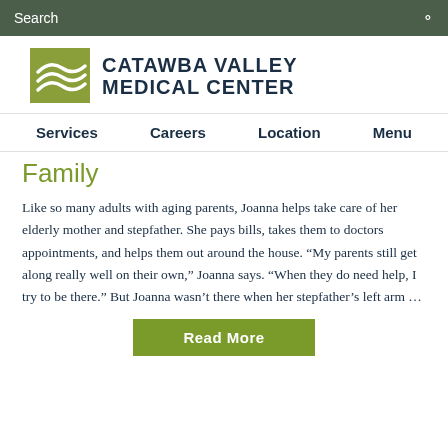Search
[Figure (logo): Catawba Valley Medical Center logo with green wave graphic and bold dark blue text]
Services   Careers   Location   Menu
Family
Like so many adults with aging parents, Joanna helps take care of her elderly mother and stepfather. She pays bills, takes them to doctors appointments, and helps them out around the house. “My parents still get along really well on their own,” Joanna says. “When they do need help, I try to be there.” But Joanna wasn’t there when her stepfather’s left arm …
Read More